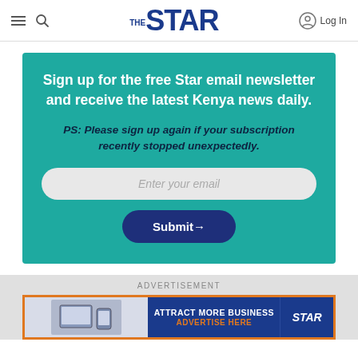The Star — Log In
Sign up for the free Star email newsletter and receive the latest Kenya news daily.

PS: Please sign up again if your subscription recently stopped unexpectedly.

[Enter your email] [Submit→]
ADVERTISEMENT
[Figure (screenshot): Advertisement banner: Attract More Business — Advertise Here, with Star logo]